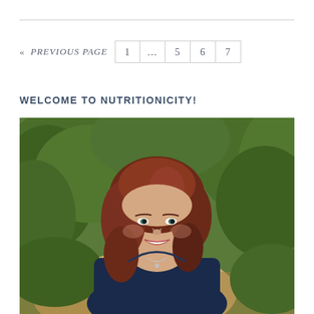« PREVIOUS PAGE  1  …  5  6  7
WELCOME TO NUTRITIONICITY!
[Figure (photo): A smiling woman with auburn/red hair, wearing a navy blazer, photographed outdoors in front of evergreen pine trees. Professional headshot style.]